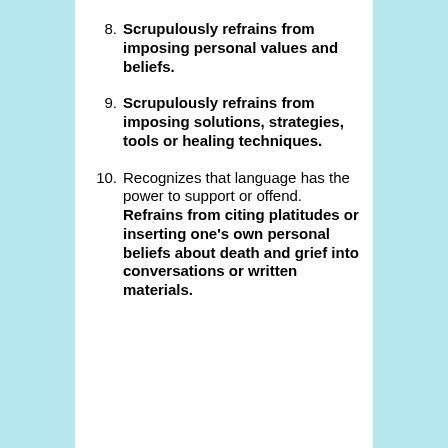8. Scrupulously refrains from imposing personal values and beliefs.
9. Scrupulously refrains from imposing solutions, strategies, tools or healing techniques.
10. Recognizes that language has the power to support or offend. Refrains from citing platitudes or inserting one’s own personal beliefs about death and grief into conversations or written materials.